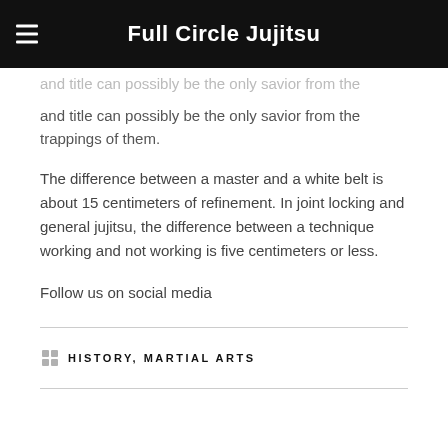Full Circle Jujitsu
...and title can possibly be the only savior from the trappings of them.
The difference between a master and a white belt is about 15 centimeters of refinement. In joint locking and general jujitsu, the difference between a technique working and not working is five centimeters or less.
Follow us on social media
HISTORY, MARTIAL ARTS